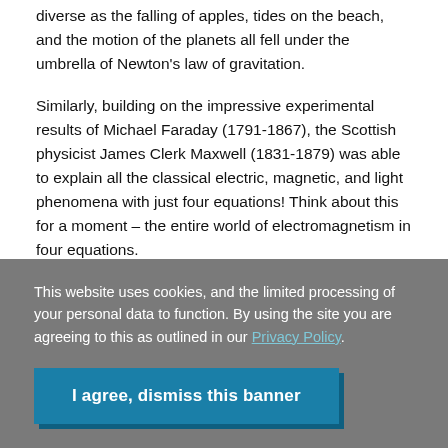diverse as the falling of apples, tides on the beach, and the motion of the planets all fell under the umbrella of Newton's law of gravitation.
Similarly, building on the impressive experimental results of Michael Faraday (1791–1867), the Scottish physicist James Clerk Maxwell (1831–1879) was able to explain all the classical electric, magnetic, and light phenomena with just four equations! Think about this for a moment – the entire world of electromagnetism in four equations.
This website uses cookies, and the limited processing of your personal data to function. By using the site you are agreeing to this as outlined in our Privacy Policy.
I agree, dismiss this banner